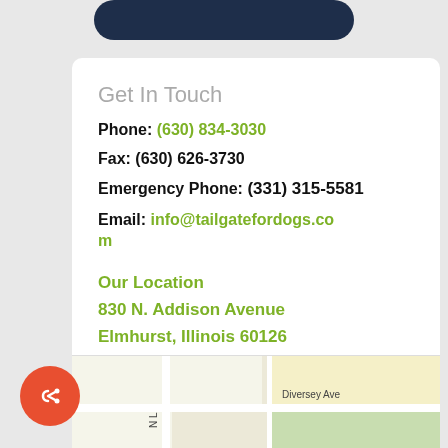[Figure (illustration): Dark navy rounded rectangle/pill shape icon at the top center of the page, partially cropped]
Get In Touch
Phone: (630) 834-3030
Fax: (630) 626-3730
Emergency Phone: (331) 315-5581
Email: info@tailgatefordogs.com
Our Location
830 N. Addison Avenue
Elmhurst, Illinois 60126
[Figure (map): Street map showing area near Diversey Ave in Elmhurst Illinois, partially cropped at bottom of page]